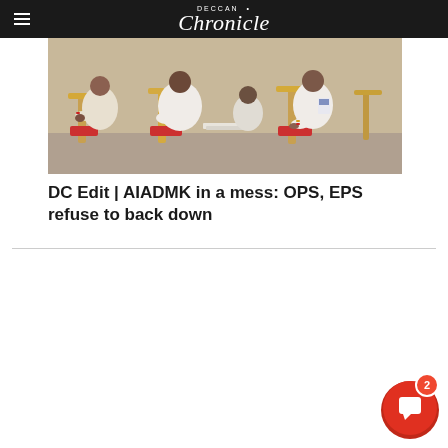Deccan Chronicle
[Figure (photo): People in white clothing seated on chairs at an event, appearing to be politicians or officials at a formal gathering]
DC Edit | AIADMK in a mess: OPS, EPS refuse to back down